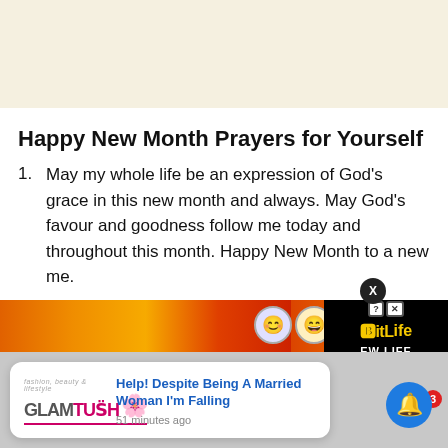[Figure (other): Light beige/cream colored banner area at top of page, likely an advertisement placeholder]
Happy New Month Prayers for Yourself
May my whole life be an expression of God's grace in this new month and always. May God's favour and goodness follow me today and throughout this month. Happy New Month to a new me.
[Figure (screenshot): Bottom section showing a grey bar with an advertisement banner (orange/red fire background with BitLife branding), a notification card from GlamTush with headline 'Help! Despite Being A Married Woman I'm Falling' posted 51 minutes ago, and a blue bell notification button with badge showing 3 notifications. An X close button appears above the ad banner.]